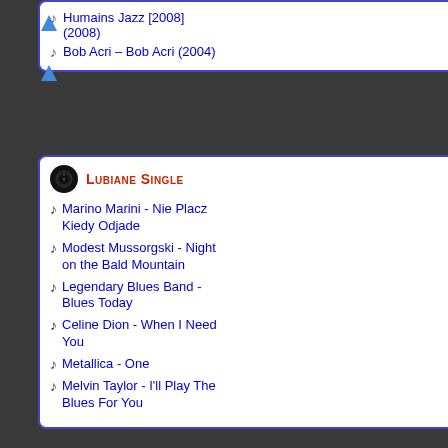♪ Humains Jazz (2008)
♪ Bob Acri – Bob Acri (2004)
Lubiane Single
♪ Marino Marini - Nie Placz Kiedy Odjade
♪ Modest Mussorgski - Night on the Bald Mountain
♪ Legendary Blues Band - Blues Today
♪ Celine Dion - When I Need You
♪ Metallica - One
♪ Melvin Taylor - I'll Play The Blues For You
hotel and casino house bands. Green's prominent during his formative years; he bebop, and he also played R&B. ---oldies
download (mp3 @320 kbs):
yandex mediafire uloz.to gett
back
Zanim ściągniesz jakikolwi
Jeśli jesteś artystą lub agent z naszej s abuse i usu
♪ Eva Cassiby - Blues In
"The Blues That Jazz" wykorzystuje ciasteczka (cookies) w celu utrzymania sesji zalogowanego użytkownika, usprawnienia działania serwisu, dopasowania wyświetlanych treści oraz tworzenia statystyk publikowanych reklam. Użytkownik ma możliwość skonfigurowania lub wyłączenia cookies za pomocą ustawień swojej przeglądarki internetowej. Korzystanie z serwisu oznacza zgodę na używanie i wykorzystywanie cookies.
♪ Anne Murray - Let It Be Me
♪ Holmes Brothers - I Want
Rozumiem i akceptuję cookies